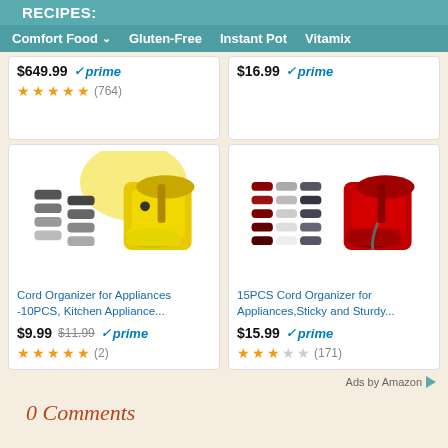RECIPES:
Comfort Food | Gluten-Free | Instant Pot | Vitamix
$649.99 prime ★★★★★ (764)
$16.99 prime
[Figure (photo): Yellow KitchenAid stand mixer with black cord organizers]
Cord Organizer for Appliances -10PCS, Kitchen Appliance...
$9.99 $11.99 prime ★★★★★ (2)
[Figure (photo): Red KitchenAid stand mixer with multi-colored cord organizers]
15PCS Cord Organizer for Appliances,Sticky and Sturdy...
$15.99 prime ★★★☆☆ (171)
Ads by Amazon
0 Comments